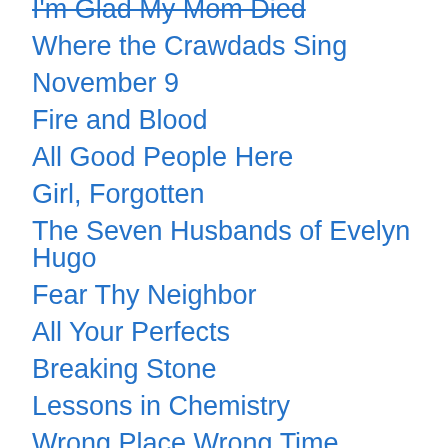I'm Glad My Mom Died
Where the Crawdads Sing
November 9
Fire and Blood
All Good People Here
Girl, Forgotten
The Seven Husbands of Evelyn Hugo
Fear Thy Neighbor
All Your Perfects
Breaking Stone
Lessons in Chemistry
Wrong Place Wrong Time
Overkill
Dangerous Encounter